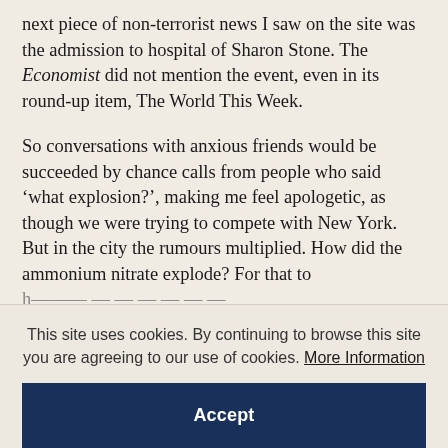next piece of non-terrorist news I saw on the site was the admission to hospital of Sharon Stone. The Economist did not mention the event, even in its round-up item, The World This Week.

So conversations with anxious friends would be succeeded by chance calls from people who said ‘what explosion?’, making me feel apologetic, as though we were trying to compete with New York. But in the city the rumours multiplied. How did the ammonium nitrate explode? For that to h...
This site uses cookies. By continuing to browse this site you are agreeing to our use of cookies. More Information
Accept